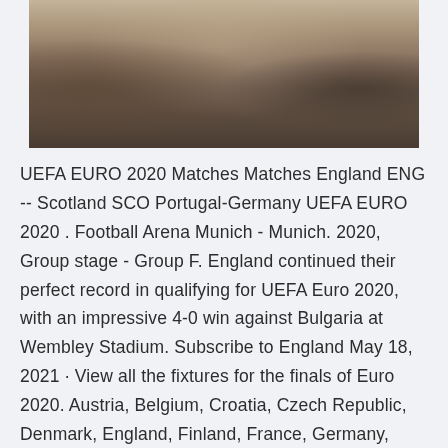[Figure (photo): Photo of a person in a knit sweater sitting in a cafe with tables and cups of coffee visible]
UEFA EURO 2020 Matches Matches England ENG -- Scotland SCO Portugal-Germany UEFA EURO 2020 . Football Arena Munich - Munich. 2020, Group stage - Group F. England continued their perfect record in qualifying for UEFA Euro 2020, with an impressive 4-0 win against Bulgaria at Wembley Stadium. Subscribe to England May 18, 2021 · View all the fixtures for the finals of Euro 2020. Austria, Belgium, Croatia, Czech Republic, Denmark, England, Finland, France, Germany, Hungary, Italy, Netherlands Jan 28, 2021 · UEFA EURO 2020 - UEFA EURO 2020 Group F: Hungary, Portugal, France, Germany - News Bulgaria (a) 3-1: Iceland (h) 2